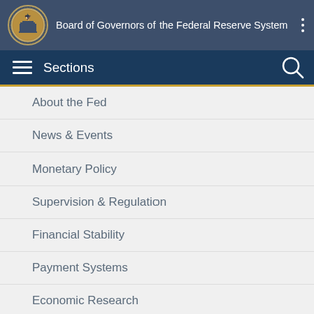Board of Governors of the Federal Reserve System
Sections
About the Fed
News & Events
Monetary Policy
Supervision & Regulation
Financial Stability
Payment Systems
Economic Research
Data
Consumers & Communities
TOOLS AND INFORMATION